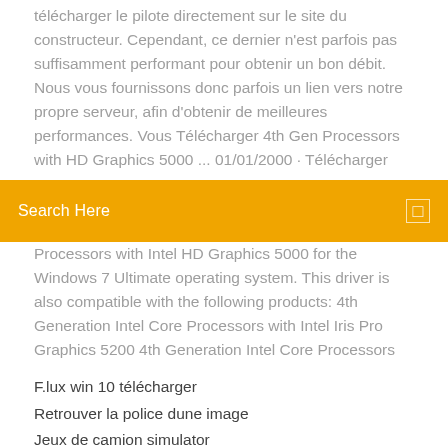télécharger le pilote directement sur le site du constructeur. Cependant, ce dernier n'est parfois pas suffisamment performant pour obtenir un bon débit. Nous vous fournissons donc parfois un lien vers notre propre serveur, afin d'obtenir de meilleures performances. Vous Télécharger 4th Gen Processors with HD Graphics 5000 ... 01/01/2000 · Télécharger
[Figure (screenshot): Orange search bar with text 'Search Here' and a small square icon on the right]
Processors with Intel HD Graphics 5000 for the Windows 7 Ultimate operating system. This driver is also compatible with the following products: 4th Generation Intel Core Processors with Intel Iris Pro Graphics 5200 4th Generation Intel Core Processors
F.lux win 10 télécharger
Retrouver la police dune image
Jeux de camion simulator
Regarder film en streaming sur ipad gratuit
Meilleure performance update 2020